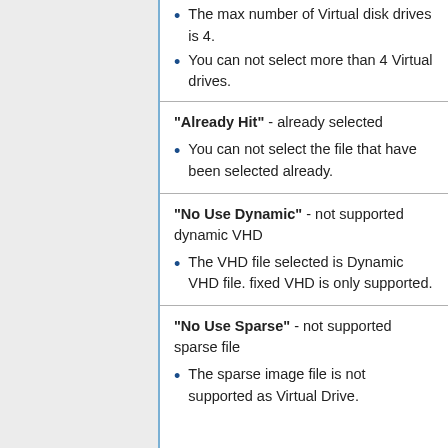The max number of Virtual disk drives is 4.
You can not select more than 4 Virtual drives.
"Already Hit" - already selected
You can not select the file that have been selected already.
"No Use Dynamic" - not supported dynamic VHD
The VHD file selected is Dynamic VHD file. fixed VHD is only supported.
"No Use Sparse" - not supported sparse file
The sparse image file is not supported as Virtual Drive.